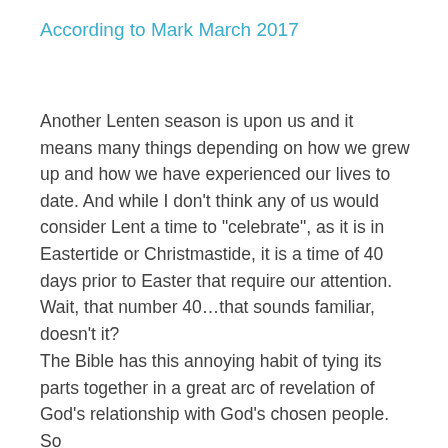According to Mark March 2017
Another Lenten season is upon us and it means many things depending on how we grew up and how we have experienced our lives to date. And while I don’t think any of us would consider Lent a time to “celebrate”, as it is in Eastertide or Christmastide, it is a time of 40 days prior to Easter that require our attention. Wait, that number 40…that sounds familiar, doesn’t it?
The Bible has this annoying habit of tying its parts together in a great arc of revelation of God’s relationship with God’s chosen people. So